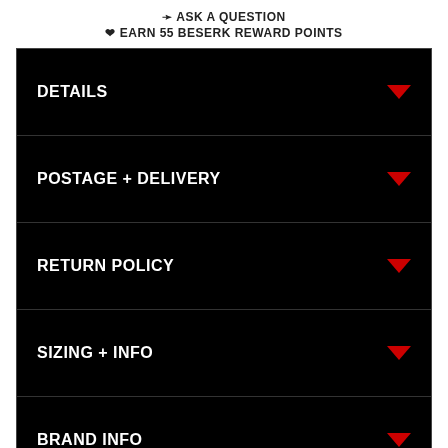❷ ASK A QUESTION
❤ EARN 55 BESERK REWARD POINTS
DETAILS
POSTAGE + DELIVERY
RETURN POLICY
SIZING + INFO
BRAND INFO
LOVE IT?
PLEASE LEAVE A REVIEW!